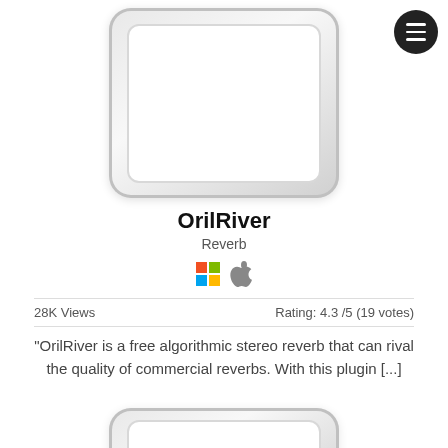[Figure (illustration): Rounded rectangle plugin preview image placeholder (white interior, gray gradient border frame)]
OrilRiver
Reverb
[Figure (illustration): Windows and Apple OS compatibility icons]
28K Views
Rating: 4.3 /5 (19 votes)
"OrilRiver is a free algorithmic stereo reverb that can rival the quality of commercial reverbs. With this plugin [...]
[Figure (illustration): Second plugin preview card image placeholder (partially visible, same rounded rectangle frame style)]